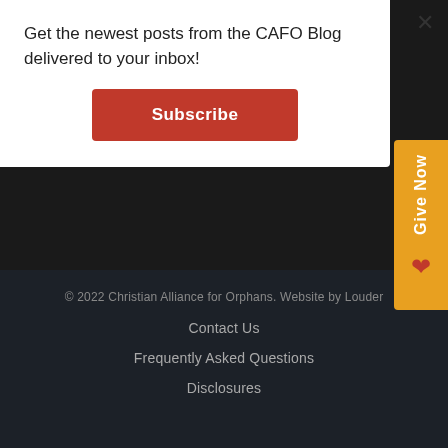Get the newest posts from the CAFO Blog delivered to your inbox!
Subscribe
of your donations go to fuel CAFO initiatives that gro and guide effective care for children. GIVE NOW ▶
© 2022 Christian Alliance for Orphans. Website by Louder
Contact Us
Frequently Asked Questions
Disclosures